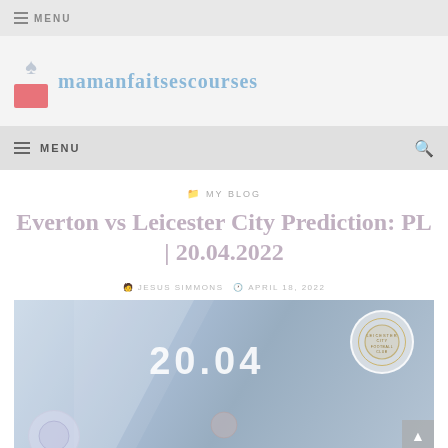MENU
[Figure (logo): mamanfaitsescourses website logo with spade icon and pink box]
MENU
MY BLOG
Everton vs Leicester City Prediction: PL | 20.04.2022
JESUS SIMMONS  APRIL 18, 2022
[Figure (photo): Featured image showing 20.04 date text with Leicester City and Everton football club badges on a blue background]